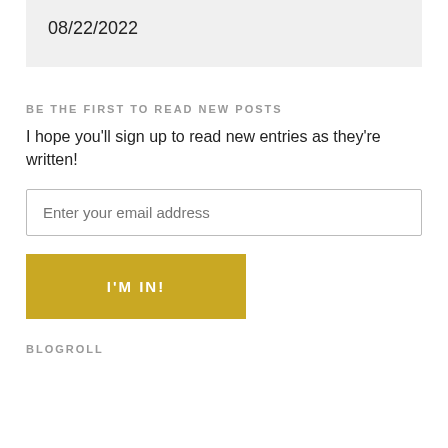08/22/2022
BE THE FIRST TO READ NEW POSTS
I hope you'll sign up to read new entries as they're written!
Enter your email address
I'M IN!
BLOGROLL